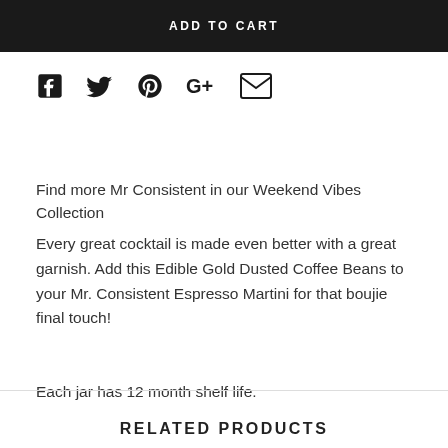ADD TO CART
[Figure (infographic): Social media sharing icons: Facebook, Twitter, Pinterest, Google+, Email]
Find more Mr Consistent in our Weekend Vibes Collection
Every great cocktail is made even better with a great garnish. Add this Edible Gold Dusted Coffee Beans to your Mr. Consistent Espresso Martini for that boujie final touch!
Each jar has 12 month shelf life.
RELATED PRODUCTS